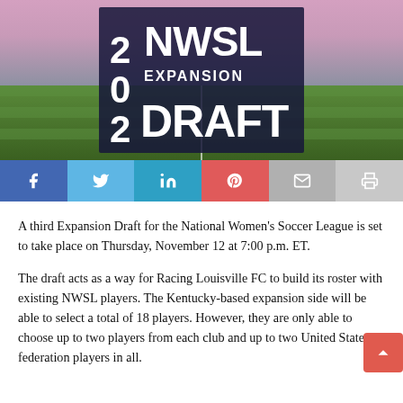[Figure (photo): NWSL Expansion Draft 2020 promotional image over soccer field background with dark overlay showing '2020 NWSL EXPANSION DRAFT' text in bold white letters]
[Figure (infographic): Social sharing bar with Facebook, Twitter, LinkedIn, Pinterest, Email, and Print buttons]
A third Expansion Draft for the National Women's Soccer League is set to take place on Thursday, November 12 at 7:00 p.m. ET.
The draft acts as a way for Racing Louisville FC to build its roster with existing NWSL players. The Kentucky-based expansion side will be able to select a total of 18 players. However, they are only able to choose up to two players from each club and up to two United States federation players in all.